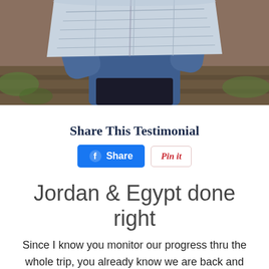[Figure (photo): Person in denim jacket holding open a large map, standing on railway tracks, photographed from chest down.]
Share This Testimonial
[Figure (infographic): Facebook Share button (blue) and Pin it button (white with red text)]
Jordan & Egypt done right
Since I know you monitor our progress thru the whole trip, you already know we are back and had a wonderful time. Aside from all the amazing sites that we saw, I had a few